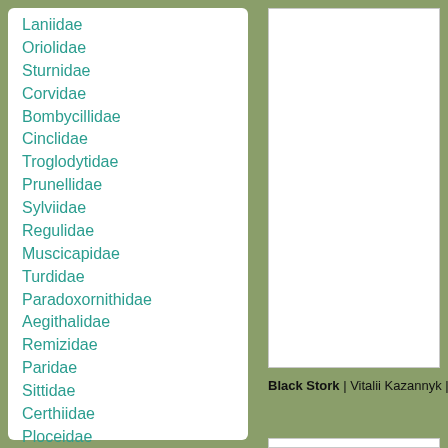Laniidae
Oriolidae
Sturnidae
Corvidae
Bombycillidae
Cinclidae
Troglodytidae
Prunellidae
Sylviidae
Regulidae
Muscicapidae
Turdidae
Paradoxornithidae
Aegithalidae
Remizidae
Paridae
Sittidae
Certhiidae
Ploceidae
Fringillidae
Emberizidae
[Figure (photo): Empty white panel on the right side of the page]
Black Stork | Vitalii Kazannyk | 10